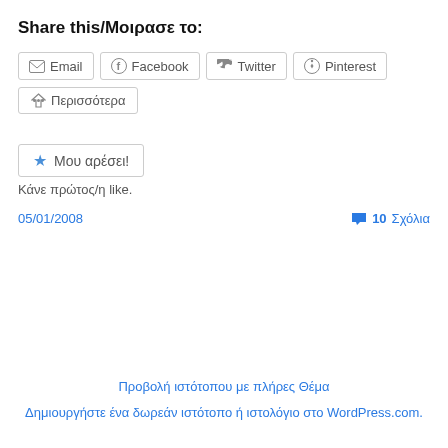Share this/Μοιρασε το:
Email  Facebook  Twitter  Pinterest
Περισσότερα
★ Μου αρέσει!
Κάνε πρώτος/η like.
05/01/2008
💬 10 Σχόλια
Προβολή ιστότοπου με πλήρες Θέμα
Δημιουργήστε ένα δωρεάν ιστότοπο ή ιστολόγιο στο WordPress.com.